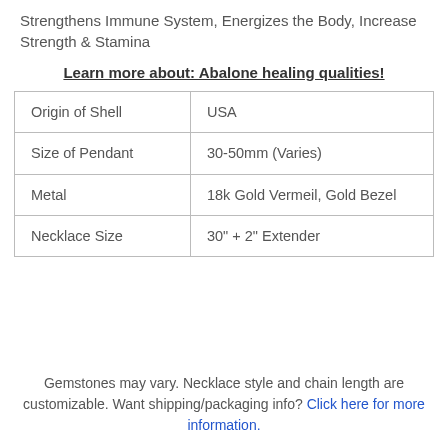Strengthens Immune System, Energizes the Body, Increase Strength & Stamina
Learn more about: Abalone healing qualities!
| Origin of Shell | USA |
| Size of Pendant | 30-50mm (Varies) |
| Metal | 18k Gold Vermeil, Gold Bezel |
| Necklace Size | 30" + 2" Extender |
Gemstones may vary. Necklace style and chain length are customizable. Want shipping/packaging info? Click here for more information.